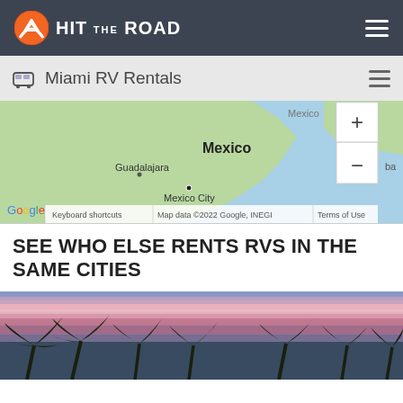HIT THE ROAD
Miami RV Rentals
[Figure (map): Google Maps showing Mexico, Guadalajara, Mexico City with zoom controls. Map data ©2022 Google, INEGI. Keyboard shortcuts | Terms of Use.]
SEE WHO ELSE RENTS RVS IN THE SAME CITIES
[Figure (photo): Tropical sunset photo with palm trees silhouetted against a colorful pink, purple, and blue sky.]